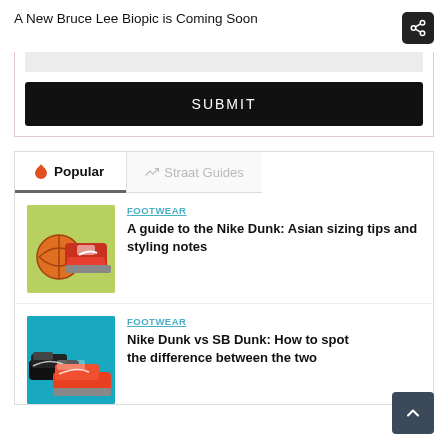A New Bruce Lee Biopic is Coming Soon
[Figure (screenshot): Black submit button with text SUBMIT on a white form area with light gray input bar above]
[Figure (screenshot): Tab navigation with Popular (active) and Straat Guides tabs]
FOOTWEAR
A guide to the Nike Dunk: Asian sizing tips and styling notes
FOOTWEAR
Nike Dunk vs SB Dunk: How to spot the difference between the two